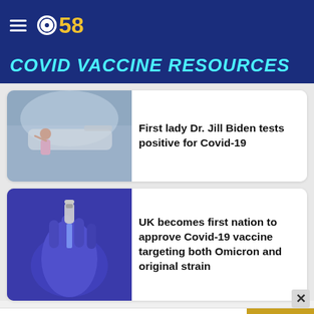CBS 58
COVID VACCINE RESOURCES
[Figure (photo): Person waving near an airplane]
First lady Dr. Jill Biden tests positive for Covid-19
[Figure (photo): Gloved hand holding a vaccine vial and syringe]
UK becomes first nation to approve Covid-19 vaccine targeting both Omicron and original strain
The perfect gift
35% OFF + FREE SHIPPING